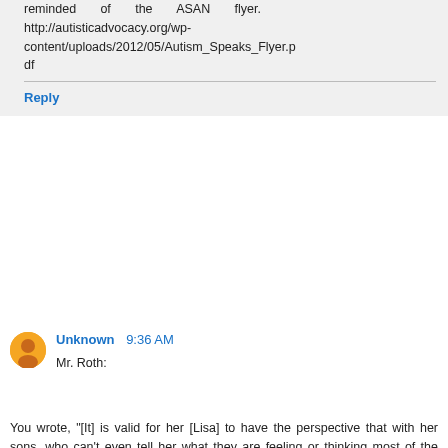reminded of the ASAN flyer. http://autisticadvocacy.org/wp-content/uploads/2012/05/Autism_Speaks_Flyer.pdf
Reply
Unknown 9:36 AM
Mr. Roth:
You wrote, "[It] is valid for her [Lisa] to have the perspective that with her sons, who can't even tell her what they are feeling or thinking most of the time, she would be thrilled to have them be at a place on the spectrum where they could."
Just exactly where "on the spectrum" is that place?
You are presuming to know.
And you are presuming to know because you erroneously